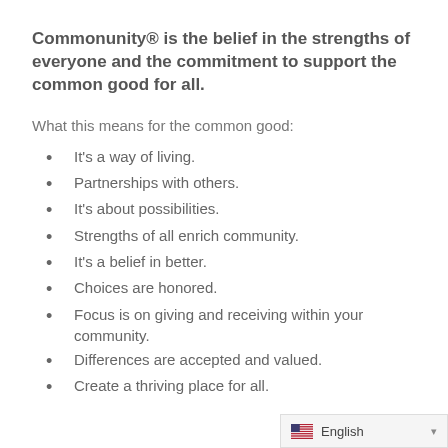Commonunity® is the belief in the strengths of everyone and the commitment to support the common good for all.
What this means for the common good:
It's a way of living.
Partnerships with others.
It's about possibilities.
Strengths of all enrich community.
It's a belief in better.
Choices are honored.
Focus is on giving and receiving within your community.
Differences are accepted and valued.
Create a thriving place for all.
English